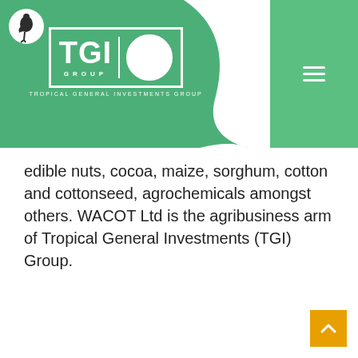[Figure (logo): TGI Group logo with bird in circle on green header banner, hamburger menu icon on right green panel. Text reads TROPICAL GENERAL INVESTMENTS GROUP.]
edible nuts, cocoa, maize, sorghum, cotton and cottonseed, agrochemicals amongst others. WACOT Ltd is the agribusiness arm of Tropical General Investments (TGI) Group.